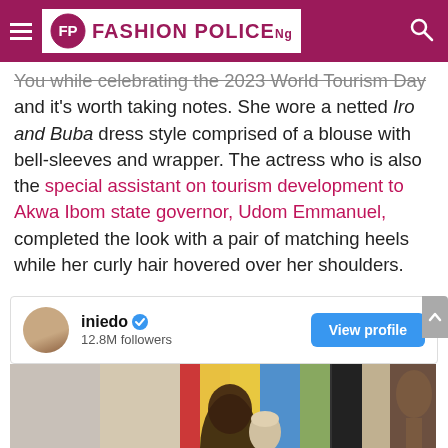Fashion Police Nigeria
You while celebrating the 2023 World Tourism Day and it's worth taking notes. She wore a netted Iro and Buba dress style comprised of a blouse with bell-sleeves and wrapper. The actress who is also the special assistant on tourism development to Akwa Ibom state governor, Udom Emmanuel, completed the look with a pair of matching heels while her curly hair hovered over her shoulders.
[Figure (screenshot): Instagram embed card showing user iniedo with verified badge and 12.8M followers, with a View profile button, and a photo of a woman in traditional Nigerian attire standing near colorful decorations and a wooden sculpture]